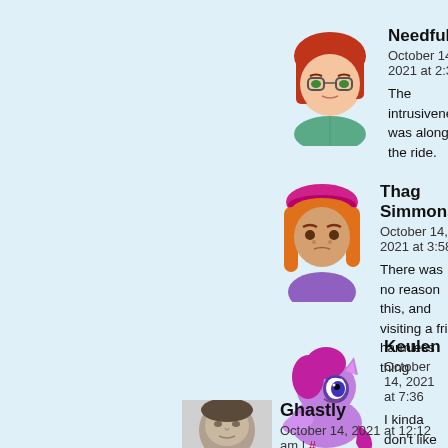[Figure (illustration): Avatar of Needfuldoer: anime-style girl with red hair and glasses]
Needfuldoer
October 14, 2021 at 2:38
The intrusiveness was along for the ride.
[Figure (illustration): Avatar of Thag Simmons: anime-style girl with pink/magenta hair and a beret]
Thag Simmons
October 14, 2021 at 3:58
There was no reason this, and visiting a frie harmless thing
[Figure (illustration): Avatar of Keulen: cartoon purple pony (My Little Pony style)]
Keulen
October 14, 2021 at 7:36
I kinda don't like that Joyce skipping class had to go looking for her didn't know what they
[Figure (photo): Avatar of Ghastly: black and white photo of a man]
Ghastly
October 14, 2021 at 12:12 am | #